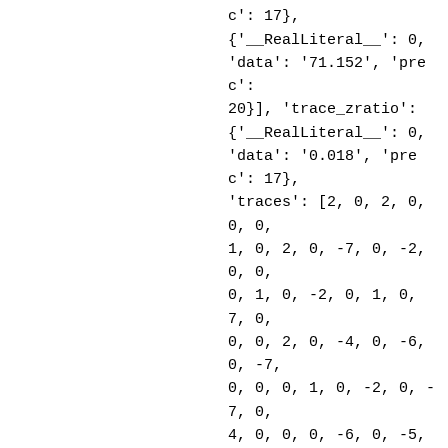'data': '0.036', 'prec': 17}, {'__RealLiteral__': 0, 'data': '71.152', 'prec': 20}], 'trace_zratio': {'__RealLiteral__': 0, 'data': '0.018', 'prec': 17}, 'traces': [2, 0, 2, 0, 0, 0, 1, 0, 2, 0, -7, 0, -2, 0, 0, 0, 1, 0, -2, 0, 1, 0, 7, 0, 0, 0, 2, 0, -4, 0, -6, 0, -7, 0, 0, 0, 1, 0, -2, 0, -7, 0, 4, 0, 0, 0, -6, 0, -5, 0, 1, 0, -3, 0, 0, 0, -2, 0, -16, 0, -9, 0, 1, 0, 0, 0, 12, 0, 7, 0, -3, 0, -16, 0, 0, 0, 5, 0, 3, 0, 2, 0, 16, 0, 0, 0, -4, 0, -17, 0, -1, 0, -6, 0, 0, 0, 15, 0, -7, 0, -6, 0, -12, 0, 0, 0, 11, 0, -18, 0, 1, 0, -4, 0, 0, 0, -2, 0,